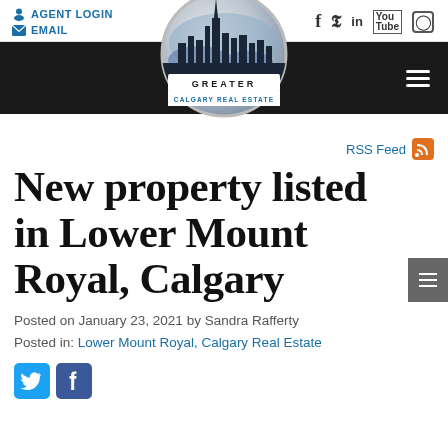AGENT LOGIN  EMAIL
[Figure (logo): Greater Calgary Real Estate circular logo with city skyline silhouette]
RSS Feed
New property listed in Lower Mount Royal, Calgary
Posted on January 23, 2021 by Sandra Rafferty
Posted in: Lower Mount Royal, Calgary Real Estate
[Figure (infographic): Twitter and Facebook social share icon buttons]